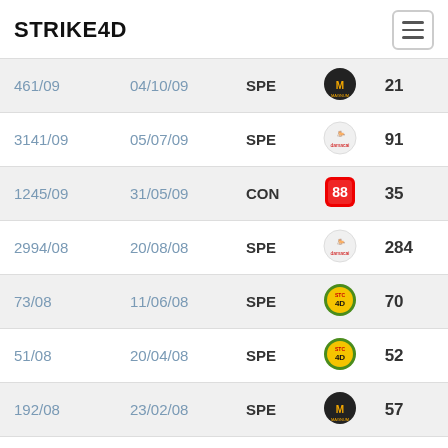STRIKE4D
| ID | Date | Type | Logo | Number |
| --- | --- | --- | --- | --- |
| 461/09 | 04/10/09 | SPE | Magnum | 21 |
| 3141/09 | 05/07/09 | SPE | Damacai | 91 |
| 1245/09 | 31/05/09 | CON | Sports Toto | 35 |
| 2994/08 | 20/08/08 | SPE | Damacai | 284 |
| 73/08 | 11/06/08 | SPE | STC 4D | 70 |
| 51/08 | 20/04/08 | SPE | STC 4D | 52 |
| 192/08 | 23/02/08 | SPE | Magnum | 57 |